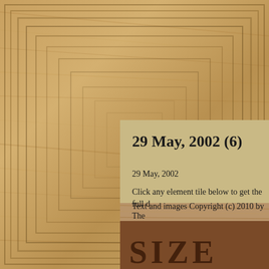[Figure (photo): A wooden frame with carved concentric rectangular borders in light oak wood grain, occupying the left and top portions of the image. The frame has multiple routed lines creating a stepped profile. The lower-right portion shows a beige/tan content panel with text, and the bottom shows a darker carved wood area with large letters 'SIZE...' visible.]
29 May, 2002 (6)
29 May, 2002
Click any element tile below to get the full d
Text and images Copyright (c) 2010 by The